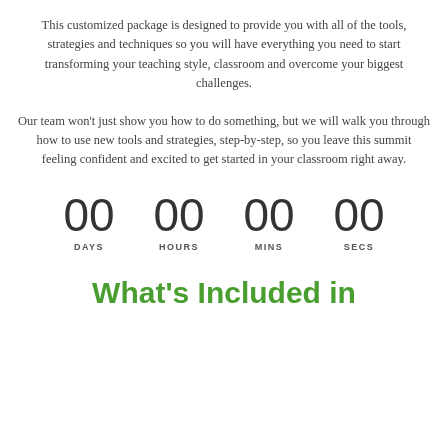This customized package is designed to provide you with all of the tools, strategies and techniques so you will have everything you need to start transforming your teaching style, classroom and overcome your biggest challenges.
Our team won't just show you how to do something, but we will walk you through how to use new tools and strategies, step-by-step, so you leave this summit feeling confident and excited to get started in your classroom right away.
[Figure (infographic): Countdown timer showing 00 DAYS, 00 HOURS, 00 MINS, 00 SECS]
What's Included in